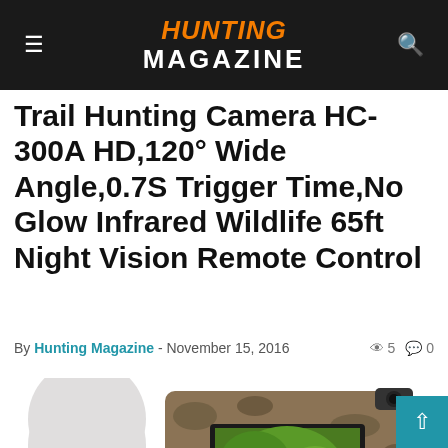HUNTING MAGAZINE
Trail Hunting Camera HC-300A HD,120° Wide Angle,0.7S Trigger Time,No Glow Infrared Wildlife 65ft Night Vision Remote Control
By Hunting Magazine - November 15, 2016   👁 5  💬 0
[Figure (photo): Product photo of trail hunting camera HC-300A with camouflage body and bird visible on screen. Includes 'Picture 12MP' badge overlay.]